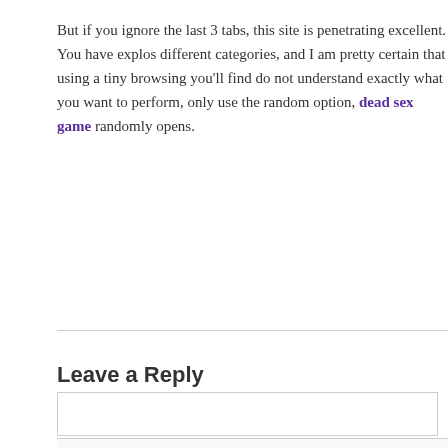But if you ignore the last 3 tabs, this site is penetrating excellent. You have explos different categories, and I am pretty certain that using a tiny browsing you'll find do not understand exactly what you want to perform, only use the random option, dead sex game randomly opens.
Leave a Reply